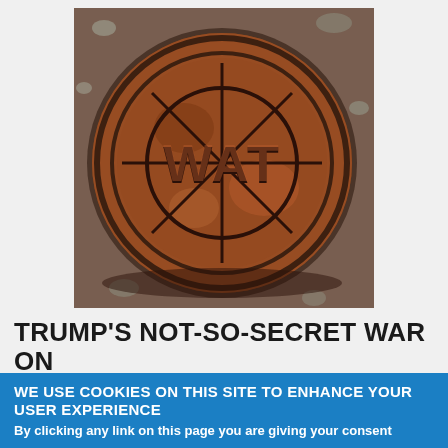[Figure (photo): Close-up photograph of a rusty cast iron water meter cover/lid with the letters 'WAT' (partial word 'WATER') embossed on it, surrounded by gravel/asphalt]
TRUMP'S NOT-SO-SECRET WAR ON STATE ENVIRONMENTAL PROTECTION
WE USE COOKIES ON THIS SITE TO ENHANCE YOUR USER EXPERIENCE
By clicking any link on this page you are giving your consent